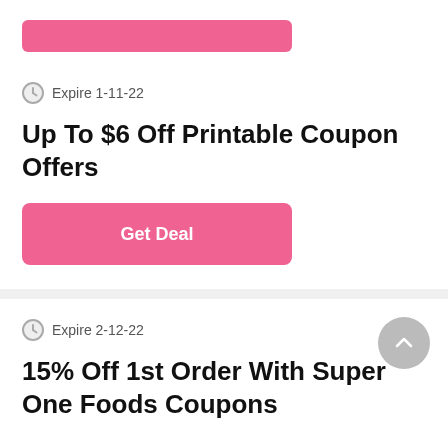[Figure (other): Pink button strip at top of page (partial card from above)]
Expire 1-11-22
Up To $6 Off Printable Coupon Offers
Get Deal
Expire 2-12-22
15% Off 1st Order With Super One Foods Coupons